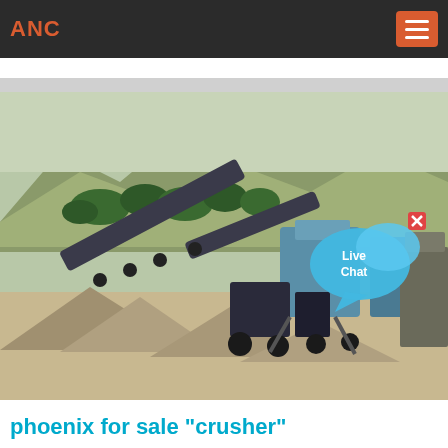ANC
[Figure (photo): Outdoor rock crushing and screening plant at a quarry site, with conveyor belts, blue machinery hoppers and silos, gravel piles, and mountainous terrain in background. A 'Live Chat' speech bubble overlay appears in the upper right of the image.]
phoenix for sale "crusher"